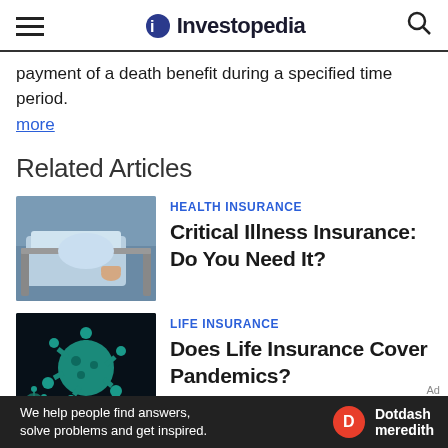Investopedia
payment of a death benefit during a specified time period.
more
Related Articles
[Figure (photo): Hospital patient in bed wearing blue gown]
HEALTH INSURANCE
Critical Illness Insurance: Do You Need It?
[Figure (photo): Teal-colored coronavirus/virus illustration on dark background]
LIFE INSURANCE
Does Life Insurance Cover Pandemics?
[Figure (photo): Partial image of third article]
LIFE INSURANCE
We help people find answers, solve problems and get inspired. Dotdash meredith